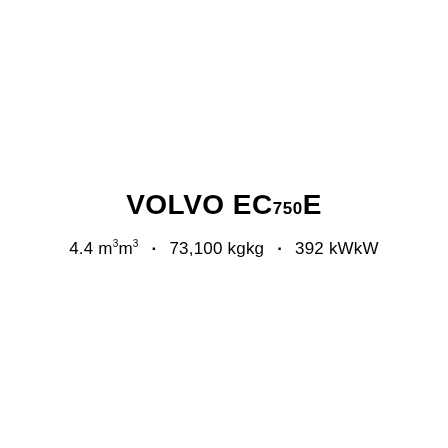VOLVO EC750E
4.4 m³m³ · 73,100 kgkg · 392 kWkW